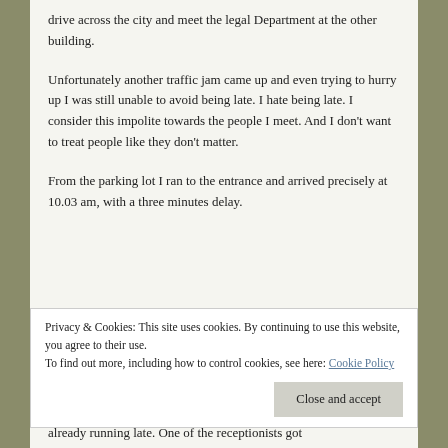drive across the city and meet the legal Department at the other building.
Unfortunately another traffic jam came up and even trying to hurry up I was still unable to avoid being late. I hate being late. I consider this impolite towards the people I meet. And I don't want to treat people like they don't matter.
From the parking lot I ran to the entrance and arrived precisely at 10.03 am, with a three minutes delay.
Privacy & Cookies: This site uses cookies. By continuing to use this website, you agree to their use.
To find out more, including how to control cookies, see here: Cookie Policy
Close and accept
already running late. One of the receptionists got